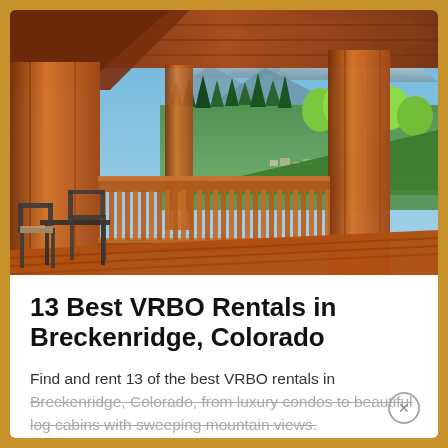[Figure (photo): A wooden log cabin deck/porch with log railings and posts, with outdoor chairs/furniture visible. The background shows a sweeping mountain valley panorama with evergreen and deciduous trees, a town in the valley below, and snow-capped mountain peaks under a partly cloudy blue sky.]
13 Best VRBO Rentals in Breckenridge, Colorado
Find and rent 13 of the best VRBO rentals in Breckenridge, Colorado, from luxury condos to beautiful log cabins with sweeping mountain views.